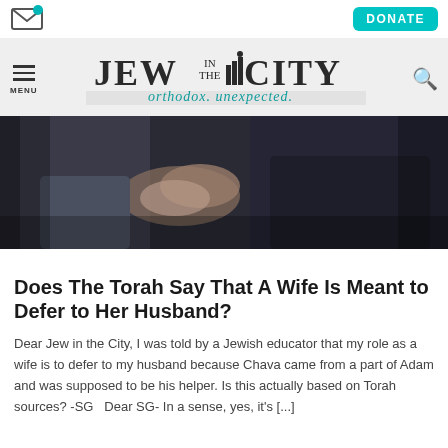[Figure (logo): Email icon with teal notification dot]
[Figure (logo): DONATE button in teal]
[Figure (logo): JEW IN THE CITY logo with tagline 'orthodox. unexpected.' on light gray header with menu and search icons]
[Figure (photo): Two people sitting close together, hands visible, dark moody tones]
Does The Torah Say That A Wife Is Meant to Defer to Her Husband?
Dear Jew in the City, I was told by a Jewish educator that my role as a wife is to defer to my husband because Chava came from a part of Adam and was supposed to be his helper. Is this actually based on Torah sources? -SG   Dear SG- In a sense, yes, it's [...]